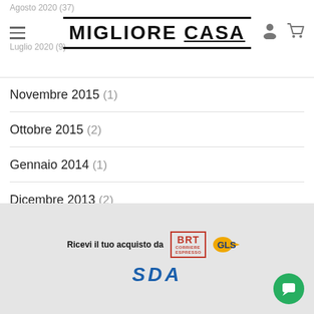Agosto 2020 (37) — Luglio 2020 (9) — MIGLIORE CASA
Novembre 2015 (1)
Ottobre 2015 (2)
Gennaio 2014 (1)
Dicembre 2013 (2)
Agosto 2013 (2)
Ricevi il tuo acquisto da BRT CORRIERE ESPRESSO GLS SDA